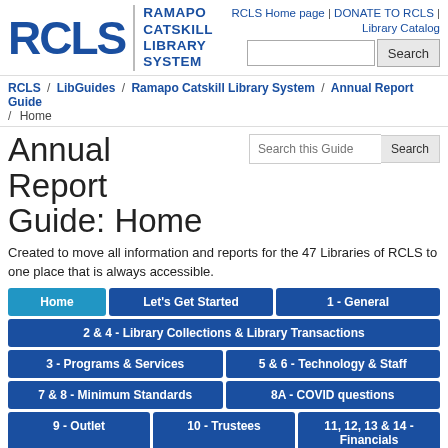[Figure (logo): RCLS Ramapo Catskill Library System logo with blue letters and divider]
RCLS Home page | DONATE TO RCLS | Library Catalog [Search bar]
RCLS / LibGuides / Ramapo Catskill Library System / Annual Report Guide / Home
Annual Report Guide: Home
Created to move all information and reports for the 47 Libraries of RCLS to one place that is always accessible.
Home
Let's Get Started
1 - General
2 & 4 - Library Collections & Library Transactions
3 - Programs & Services
5 & 6 - Technology & Staff
7 & 8 - Minimum Standards
8A - COVID questions
9 - Outlet
10 - Trustees
11, 12, 13 & 14 - Financials